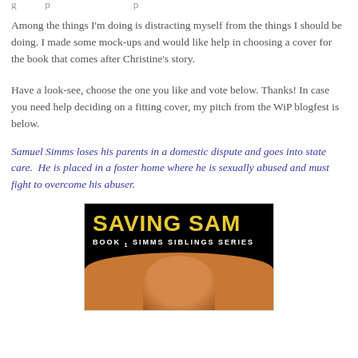…g … p … p …
Among the things I'm doing is distracting myself from the things I should be doing. I made some mock-ups and would like help in choosing a cover for the book that comes after Christine's story.
Have a look-see, choose the one you like and vote below. Thanks! In case you need help deciding on a fitting cover, my pitch from the WiP blogfest is below.
Samuel Simms loses his parents in a domestic dispute and goes into state care.  He is placed in a foster home where he is sexually abused and must fight to overcome his abuser.
[Figure (illustration): Book cover for 'Saving Sam, Book 1 Simms Siblings Series' — black background with yellow bold title text 'SAVING SAM' and white subtitle 'BOOK 1 SIMMS SIBLINGS SERIES', with a partial face of a dark-skinned person visible at the bottom.]